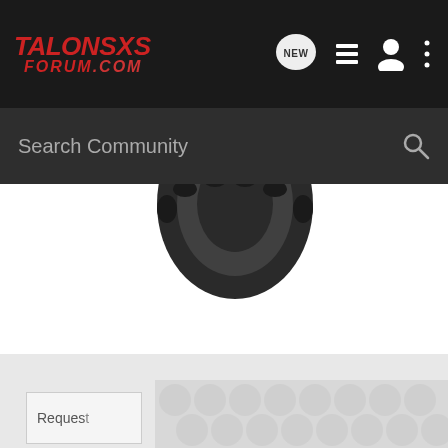TalonSXS FORUM.COM - navigation bar with NEW, list, user, and more icons
Search Community
[Figure (screenshot): Partial tire image visible at top of white hero area]
[Figure (screenshot): Gray area with dotted/bubble pattern overlay box and partial 'Reques' text box at bottom]